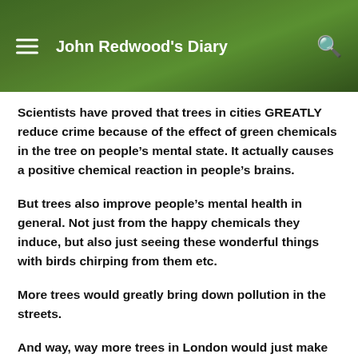John Redwood's Diary
Scientists have proved that trees in cities GREATLY reduce crime because of the effect of green chemicals in the tree on people's mental state. It actually causes a positive chemical reaction in people's brains.
But trees also improve people's mental health in general. Not just from the happy chemicals they induce, but also just seeing these wonderful things with birds chirping from them etc.
More trees would greatly bring down pollution in the streets.
And way, way more trees in London would just make London look even more beautiful, making it an even more attractive place for people, in the financial and business sectors, to…